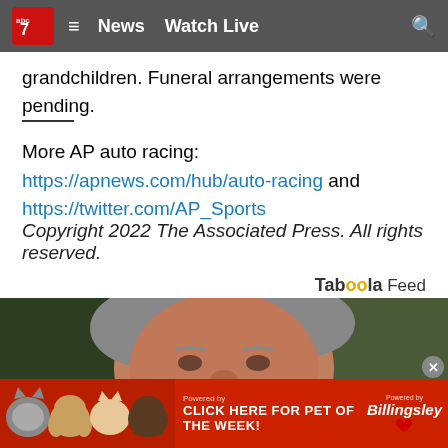News  Watch Live
grandchildren. Funeral arrangements were pending.
More AP auto racing: https://apnews.com/hub/auto-racing and https://twitter.com/AP_Sports
Copyright 2022 The Associated Press. All rights reserved.
Taboola Feed
[Figure (photo): Close-up portrait of an older man with grey hair outdoors with blurred green background]
[Figure (infographic): Advertisement banner: CLICK HERE FOR PET OF THE WEEK! with animal photos, powered by Billingsley]